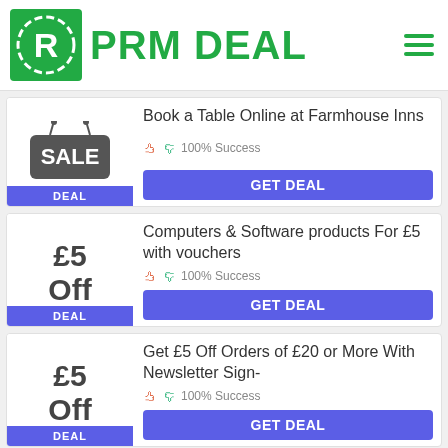PRM DEAL
Book a Table Online at Farmhouse Inns | 100% Success | GET DEAL
Computers & Software products For £5 with vouchers | 100% Success | GET DEAL
Get £5 Off Orders of £20 or More With Newsletter Sign- | 100% Success | GET DEAL